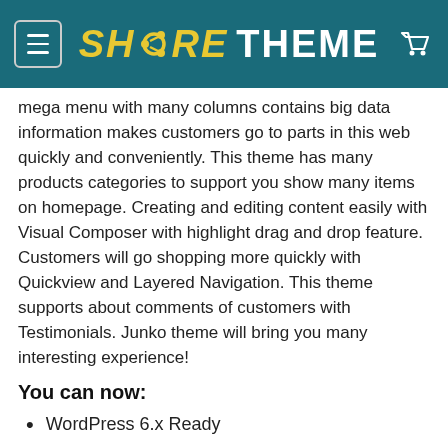SH<RE THEME
mega menu with many columns contains big data information makes customers go to parts in this web quickly and conveniently. This theme has many products categories to support you show many items on homepage. Creating and editing content easily with Visual Composer with highlight drag and drop feature. Customers will go shopping more quickly with Quickview and Layered Navigation. This theme supports about comments of customers with Testimonials. Junko theme will bring you many interesting experience!
You can now:
WordPress 6.x Ready